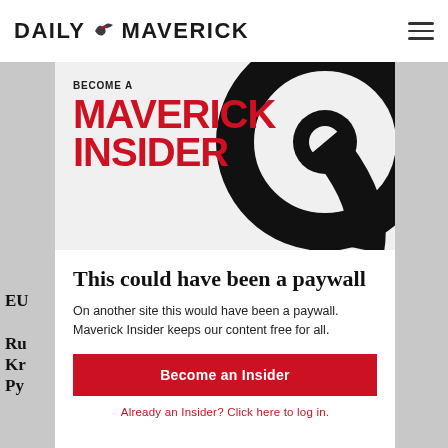DAILY MAVERICK
[Figure (logo): Daily Maverick logo with stylized bird/eagle graphic between DAILY and MAVERICK text]
[Figure (illustration): Become a Maverick Insider promotional banner with red bold text on white background and black spiral/swirl graphic on right side]
This could have been a paywall
On another site this would have been a paywall. Maverick Insider keeps our content free for all.
Become an Insider
Already an Insider? Click here to log in.